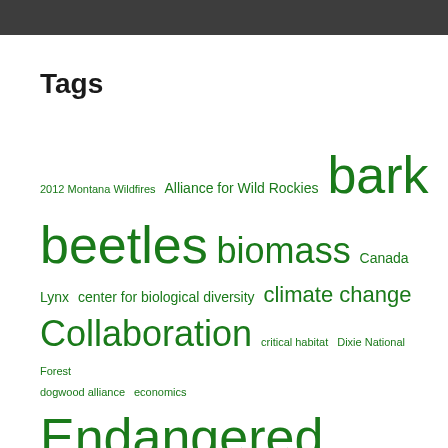Tags
2012 Montana Wildfires Alliance for Wild Rockies bark beetles biomass Canada Lynx center for biological diversity climate change Collaboration critical habitat Dixie National Forest dogwood alliance economics Endangered Species Act Fire and Fuels FireWise Flathead National Forest Forest Jobs and Recreation Act Giant Sequoias Home Ignition Zone King Fire Lewis and Clark National Forest Lodgepole pine Lolo National Forest Montana old growth